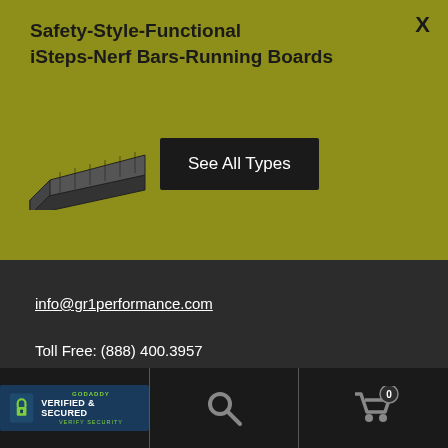Safety-Style-Functional
iSteps-Nerf Bars-Running Boards
[Figure (illustration): Black running board / nerf bar product image, angled view]
See All Types
info@gr1performance.com
Toll Free: (888) 400.3957
Instagram
[Figure (logo): GoDaddy Verified & Secured badge]
[Figure (illustration): Search icon]
[Figure (illustration): Shopping cart icon with 0 badge]